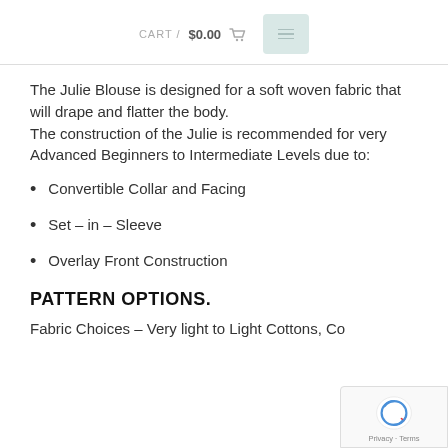CART / $0.00
The Julie Blouse is designed for a soft woven fabric that will drape and flatter the body. The construction of the Julie is recommended for very Advanced Beginners to Intermediate Levels due to:
Convertible Collar and Facing
Set – in – Sleeve
Overlay Front Construction
PATTERN OPTIONS.
Fabric Choices – Very light to Light Cottons, Co